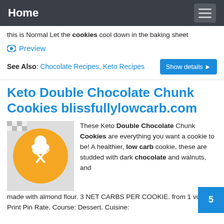Home
this is Normal Let the cookies cool down in the baking sheet
Preview
See Also: Chocolate Recipes, Keto Recipes  Show details
Keto Double Chocolate Chunk Cookies blissfullylowcarb.com
[Figure (logo): Orange circle logo with white chef hat, spoon and fork crossed]
These Keto Double Chocolate Chunk Cookies are everything you want a cookie to be! A healthier, low carb cookie, these are studded with dark chocolate and walnuts, and made with almond flour. 3 NET CARBS PER COOKIE. from 1 vote. Print Pin Rate. Course: Dessert. Cuisine: